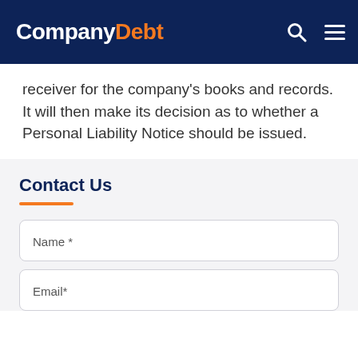CompanyDebt
receiver for the company’s books and records. It will then make its decision as to whether a Personal Liability Notice should be issued.
Contact Us
Name *
Email*